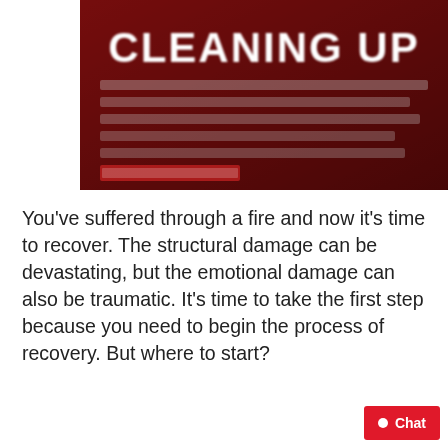[Figure (illustration): Blurred dark red banner with bold white text reading 'CLEANING UP' and descriptive text below it]
You've suffered through a fire and now it's time to recover. The structural damage can be devastating, but the emotional damage can also be traumatic. It's time to take the first step because you need to begin the process of recovery. But where to start?
[Figure (illustration): Blue download button labeled 'Download']
[Figure (illustration): Partial logo showing 'THE DIRTY' in teal/turquoise lettering with decorative background, partially visible at bottom of page]
[Figure (illustration): Red chat button in bottom right corner with white dot and text 'Chat']